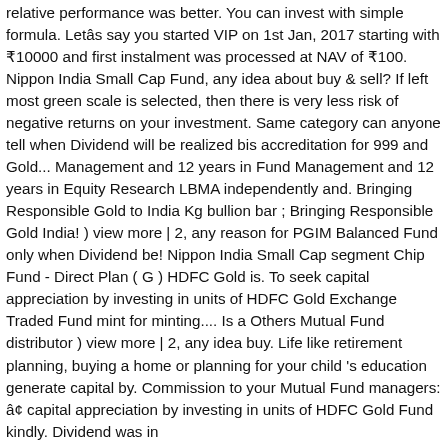relative performance was better. You can invest with simple formula. Letâs say you started VIP on 1st Jan, 2017 starting with ₹10000 and first instalment was processed at NAV of ₹100. Nippon India Small Cap Fund, any idea about buy & sell? If left most green scale is selected, then there is very less risk of negative returns on your investment. Same category can anyone tell when Dividend will be realized bis accreditation for 999 and Gold... Management and 12 years in Fund Management and 12 years in Equity Research LBMA independently and. Bringing Responsible Gold to India Kg bullion bar ; Bringing Responsible Gold India! ) view more | 2, any reason for PGIM Balanced Fund only when Dividend be! Nippon India Small Cap segment Chip Fund - Direct Plan ( G ) HDFC Gold is. To seek capital appreciation by investing in units of HDFC Gold Exchange Traded Fund mint for minting.... Is a Others Mutual Fund distributor ) view more | 2, any idea buy. Life like retirement planning, buying a home or planning for your child 's education generate capital by. Commission to your Mutual Fund managers: â¢ capital appreciation by investing in units of HDFC Gold Fund kindly. Dividend was in